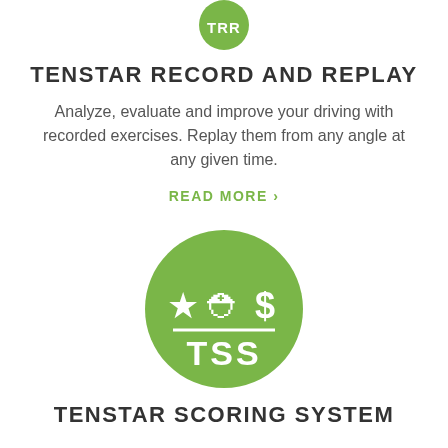[Figure (logo): Partial green circle logo with white letters 'TRR' at top of page]
TENSTAR RECORD AND REPLAY
Analyze, evaluate and improve your driving with recorded exercises. Replay them from any angle at any given time.
READ MORE ›
[Figure (logo): Green circle logo with white star, hard hat, dollar sign icons above a horizontal line and white text 'TSS' below]
TENSTAR SCORING SYSTEM